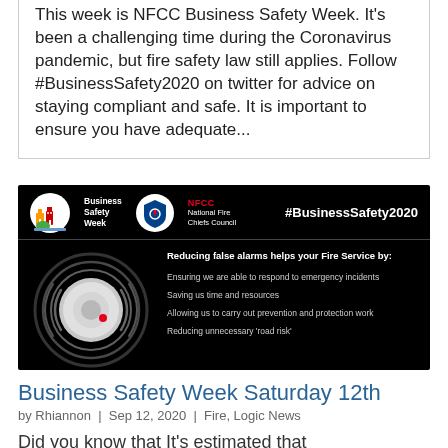This week is NFCC Business Safety Week. It's been a challenging time during the Coronavirus pandemic, but fire safety law still applies. Follow #BusinessSafety2020 on twitter for advice on staying compliant and safe. It is important to ensure you have adequate...
[Figure (infographic): NFCC Business Safety Week promotional image on black background showing Business Safety Week and NFCC National Fire Chiefs Council logos, hashtag #BusinessSafety2020, a smoke alarm illustration, and text listing benefits of reducing false alarms: Ensuring we are able to respond to emergency incidents, Saving us time and resources, Allowing us to carry out prevention and protection work, Reducing unnecessary 'road risk']
Business Safety Week Saturday 12th
by Rhiannon | Sep 12, 2020 | Fire, Logic News
Did you know that It's estimated that